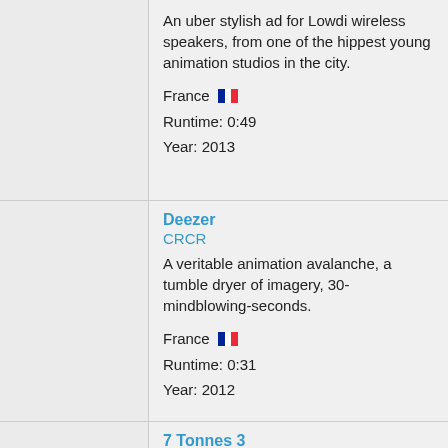An uber stylish ad for Lowdi wireless speakers, from one of the hippest young animation studios in the city.

France 🇫🇷
Runtime: 0:49
Year: 2013
Deezer
CRCR
A veritable animation avalanche, a tumble dryer of imagery, 30-mindblowing-seconds.

France 🇫🇷
Runtime: 0:31
Year: 2012
7 Tonnes 3
Nicolas Deveaux
There's an elephant in the gym and it's having a LOT of fun!